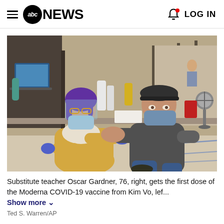abc NEWS | LOG IN
[Figure (photo): A healthcare worker in a yellow sweater and blue gloves administers a COVID-19 vaccine injection to an older man wearing a dark cap and mask, seated in a vaccination clinic setting with cubicle dividers in the background.]
Substitute teacher Oscar Gardner, 76, right, gets the first dose of the Moderna COVID-19 vaccine from Kim Vo, lef... Show more
Ted S. Warren/AP
“Th...